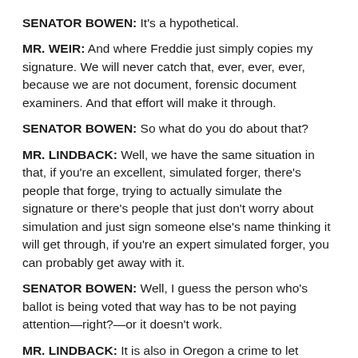SENATOR BOWEN: It's a hypothetical.
MR. WEIR: And where Freddie just simply copies my signature. We will never catch that, ever, ever, ever, because we are not document, forensic document examiners. And that effort will make it through.
SENATOR BOWEN: So what do you do about that?
MR. LINDBACK: Well, we have the same situation in that, if you're an excellent, simulated forger, there's people that forge, trying to actually simulate the signature or there's people that just don't worry about simulation and just sign someone else's name thinking it will get through, if you're an expert simulated forger, you can probably get away with it.
SENATOR BOWEN: Well, I guess the person who's ballot is being voted that way has to be not paying attention—right?—or it doesn't work.
MR. LINDBACK: It is also in Oregon a crime to let